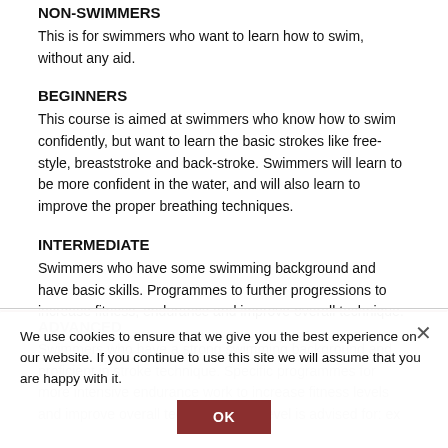NON-SWIMMERS
This is for swimmers who want to learn how to swim, without any aid.
BEGINNERS
This course is aimed at swimmers who know how to swim confidently, but want to learn the basic strokes like free-style, breaststroke and back-stroke. Swimmers will learn to be more confident in the water, and will also learn to improve the proper breathing techniques.
INTERMEDIATE
Swimmers who have some swimming background and have basic skills. Programmes to further progressions to increase fitness, endurance and improve overall technique.
ADVANCED
Swimmers who have a strong swimming background and proficient in stroke technique. Specific programmes for more intensive endurance work to increase fitness levels and improve overall technique. This level is advised for: ex
We use cookies to ensure that we give you the best experience on our website. If you continue to use this site we will assume that you are happy with it.